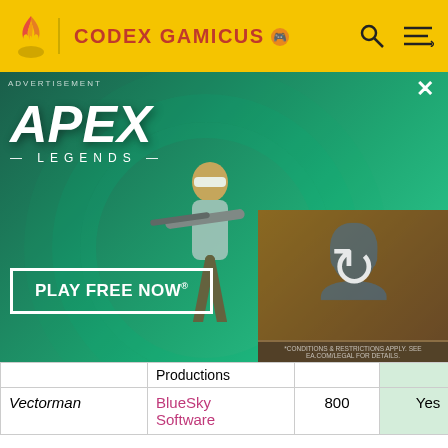CODEX GAMICUS
[Figure (screenshot): Apex Legends advertisement banner with character holding a sniper rifle, 'PLAY FREE NOW' button, and a loading overlay on the right side]
| Game | Developer | Points | Yes/No |  |
| --- | --- | --- | --- | --- |
|  | Productions |  |  |  |
| Vectorman | BlueSky Software | 800 | Yes | N |
| Virtua Fighter 2 | Sega | 1000 | Yes | No |
| Wonder Boy in Monster World | Westone | 1000 | Yes | No |